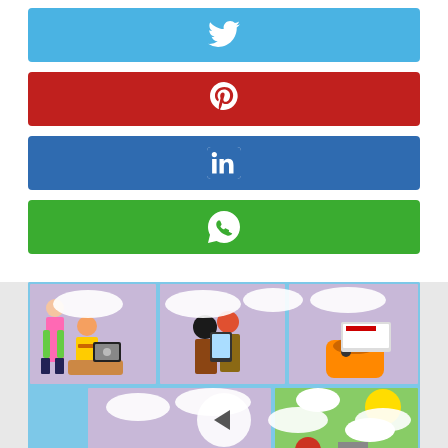[Figure (infographic): Twitter share button - light blue rounded rectangle with white Twitter bird icon]
[Figure (infographic): Pinterest share button - red rounded rectangle with white Pinterest P icon]
[Figure (infographic): LinkedIn share button - dark blue rounded rectangle with white 'in' LinkedIn icon]
[Figure (infographic): WhatsApp share button - green rounded rectangle with white WhatsApp phone icon]
[Figure (illustration): Comic strip illustration showing characters using devices, with speech bubbles, on a light blue background. A white circular back/previous navigation button overlays the center. A dark back-to-top arrow button is in the bottom right corner.]